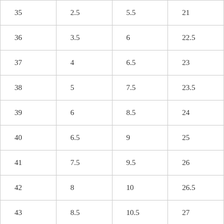| 35 | 2.5 | 5.5 | 21 |
| 36 | 3.5 | 6 | 22.5 |
| 37 | 4 | 6.5 | 23 |
| 38 | 5 | 7.5 | 23.5 |
| 39 | 6 | 8.5 | 24 |
| 40 | 6.5 | 9 | 25 |
| 41 | 7.5 | 9.5 | 26 |
| 42 | 8 | 10 | 26.5 |
| 43 | 8.5 | 10.5 | 27 |